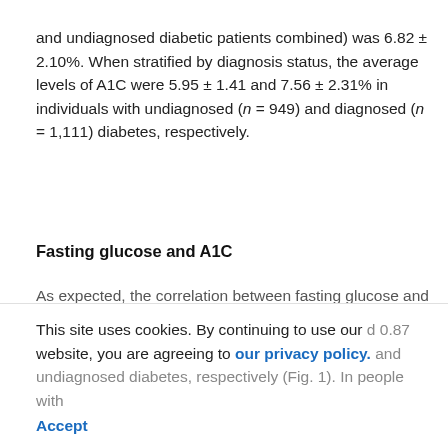and undiagnosed diabetic patients combined) was 6.82 ± 2.10%. When stratified by diagnosis status, the average levels of A1C were 5.95 ± 1.41 and 7.56 ± 2.31% in individuals with undiagnosed (n = 949) and diagnosed (n = 1,111) diabetes, respectively.
Fasting glucose and A1C
As expected, the correlation between fasting glucose and
This site uses cookies. By continuing to use our website, you are agreeing to our privacy policy. and undiagnosed diabetes, respectively (Fig. 1). In people with